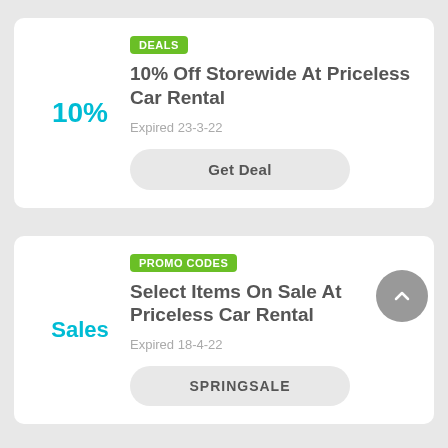[Figure (other): Coupon card 1: 10% Off Storewide At Priceless Car Rental. Badge: DEALS. Left: 10%. Expired 23-3-22. Button: Get Deal.]
[Figure (other): Coupon card 2: Select Items On Sale At Priceless Car Rental. Badge: PROMO CODES. Left: Sales. Expired 18-4-22. Button: SPRINGSALE.]
[Figure (other): Coupon card 3 (partial): Badge: DEALS visible at bottom.]